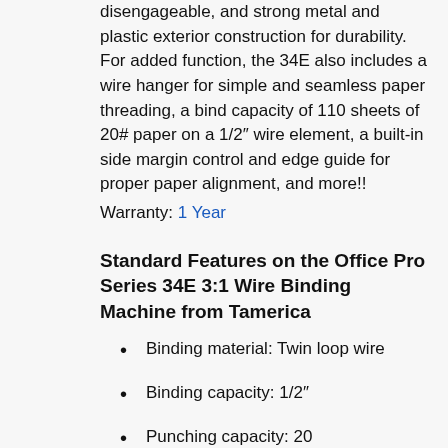disengageable, and strong metal and plastic exterior construction for durability. For added function, the 34E also includes a wire hanger for simple and seamless paper threading, a bind capacity of 110 sheets of 20# paper on a 1/2″ wire element, a built-in side margin control and edge guide for proper paper alignment, and more!! Warranty: 1 Year
Standard Features on the Office Pro Series 34E 3:1 Wire Binding Machine from Tamerica
Binding material: Twin loop wire
Binding capacity: 1/2″
Punching capacity: 20